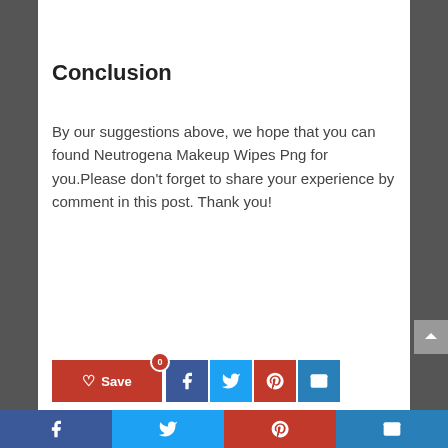Conclusion
By our suggestions above, we hope that you can found Neutrogena Makeup Wipes Png for you.Please don’t forget to share your experience by comment in this post. Thank you!
[Figure (infographic): Social sharing buttons: Save (red with heart icon and badge 0), Facebook (blue), Twitter (light blue), Pinterest (red), Email (blue)]
Related Articles
[Figure (infographic): Bottom fixed social sharing bar with Facebook, Twitter, Pinterest, and Email icons]